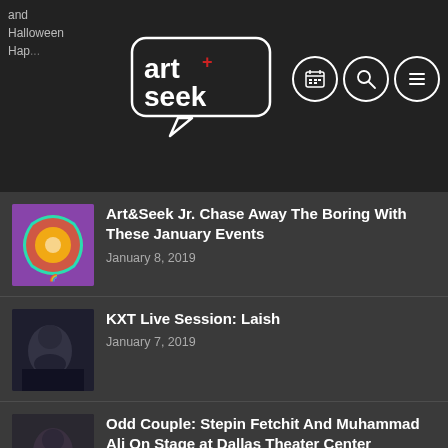art+seek
and Halloween Hap...
Art&Seek Jr. Chase Away The Boring With These January Events
January 8, 2019
KXT Live Session: Laish
January 7, 2019
Odd Couple: Stepin Fetchit And Muhammad Ali On Stage at Dallas Theater Center
January 4, 2019
KXT Live Session: MOTORCADE
January 4, 2019